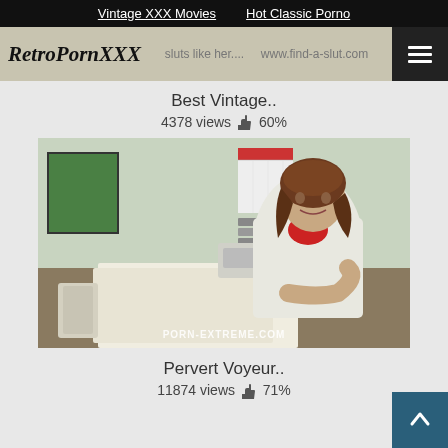Vintage XXX Movies | Hot Classic Porno
[Figure (screenshot): RetroPornXXX website header with logo and navigation menu button]
Best Vintage..
4378 views 👍 60%
[Figure (photo): Vintage photo of a woman in a white lab coat sitting at an office desk with papers and equipment, watermark PORN-EXTREME.COM]
Pervert Voyeur..
11874 views 👍 71%